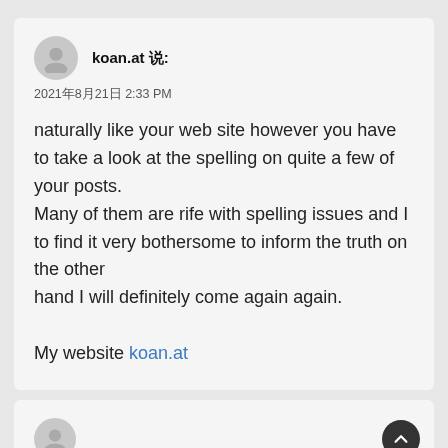koan.at 说:
2021年8月21日 2:33 PM
naturally like your web site however you have to take a look at the spelling on quite a few of your posts.
Many of them are rife with spelling issues and I to find it very bothersome to inform the truth on the other hand I will definitely come again again.

My website koan.at